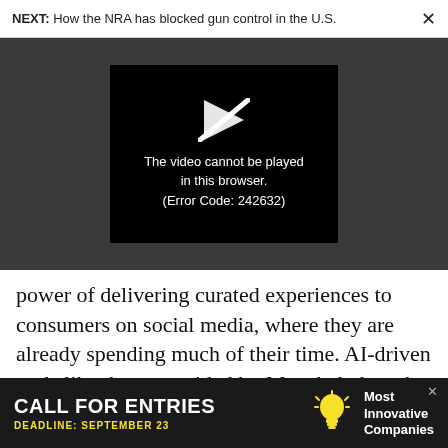NEXT: How the NRA has blocked gun control in the U.S.  ×
[Figure (screenshot): Video player showing error message: 'The video cannot be played in this browser. (Error Code: 242632)' with a broken play button icon, on a dark grey background.]
power of delivering curated experiences to consumers on social media, where they are already spending much of their time. AI-driven tools like those provided by Meta help brands deliver content at scale that reaches the right individuals with
[Figure (screenshot): Advertisement banner: 'CALL FOR ENTRIES DEADLINE: SEPTEMBER 23' with a lightbulb icon and text 'Most Innovative Companies' on dark background.]